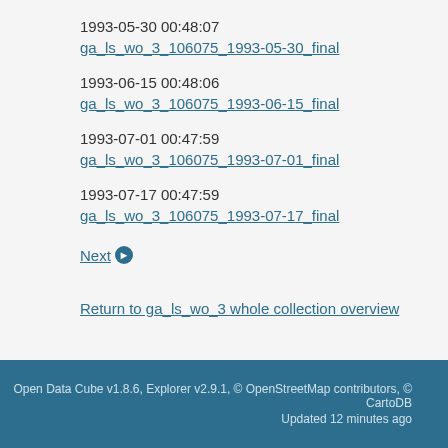1993-05-30 00:48:07
ga_ls_wo_3_106075_1993-05-30_final
1993-06-15 00:48:06
ga_ls_wo_3_106075_1993-06-15_final
1993-07-01 00:47:59
ga_ls_wo_3_106075_1993-07-01_final
1993-07-17 00:47:59
ga_ls_wo_3_106075_1993-07-17_final
Next →
Return to ga_ls_wo_3 whole collection overview
Open Data Cube v1.8.6, Explorer v2.9.1, © OpenStreetMap contributors, © CartoDB
Updated 12 minutes ago